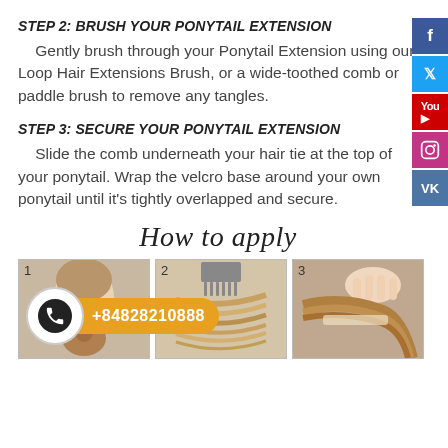STEP 2: BRUSH YOUR PONYTAIL EXTENSION
Gently brush through your Ponytail Extension using our Loop Hair Extensions Brush, or a wide-toothed comb or paddle brush to remove any tangles.
STEP 3: SECURE YOUR PONYTAIL EXTENSION
Slide the comb underneath your hair tie at the top of your ponytail. Wrap the velcro base around your own ponytail until it's tightly overlapped and secure.
How to apply
[Figure (photo): Three numbered instructional photos showing how to apply a ponytail extension: (1) hair in a low ponytail, (2) brushing the extension, (3) securing the extension around ponytail.]